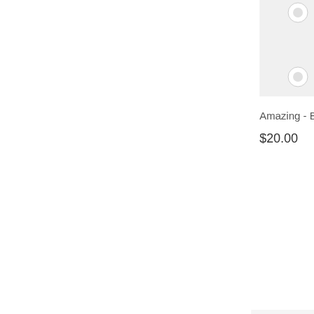[Figure (photo): Partial product photo cropped at right edge, white/light background, small figurine item visible at top-right corner of page]
Amazing - Barre
$20.00
[Figure (photo): Product photo showing a decorative brooch or pin with a painted miniature scene of a reclining figure on a rectangular wooden/frame background with white metal clips, on a white background]
Amazing - Barre